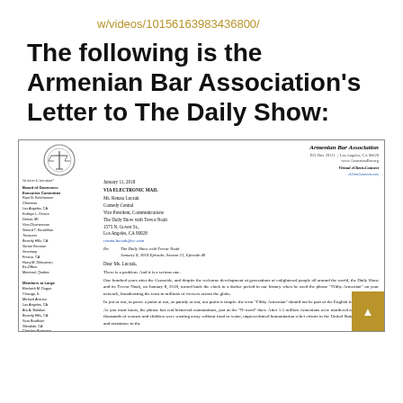w/videos/10156163983436800/
The following is the Armenian Bar Association's Letter to The Daily Show:
[Figure (other): Scanned letter from Armenian Bar Association to Comedy Central, dated January 11, 2018, addressed to Ms. Renata Luczak, Vice President Communications, The Daily Show with Trevor Noah, 1575 N. Gower St., Los Angeles, CA 90028. Letter discusses the use of the phrase 'Filthy Armenian' on the January 8, 2018 episode Season 21 Episode 40 of The Daily Show. Letter includes Armenian Bar Association letterhead with logo, sidebar with Board of Governors and Members at Large listing.]